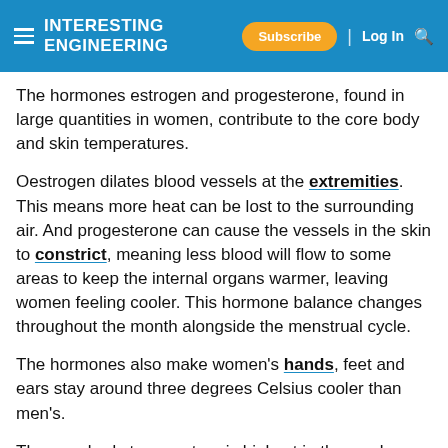INTERESTING ENGINEERING | Subscribe | Log In
The hormones estrogen and progesterone, found in large quantities in women, contribute to the core body and skin temperatures.
Oestrogen dilates blood vessels at the extremities. This means more heat can be lost to the surrounding air. And progesterone can cause the vessels in the skin to constrict, meaning less blood will flow to some areas to keep the internal organs warmer, leaving women feeling cooler. This hormone balance changes throughout the month alongside the menstrual cycle.
The hormones also make women's hands, feet and ears stay around three degrees Celsius cooler than men's.
The core body temperature is highest in the week